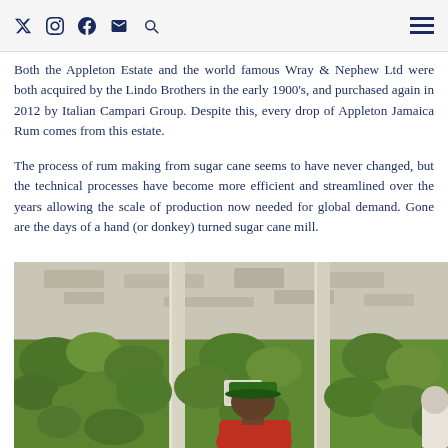Social media and navigation icons bar
Both the Appleton Estate and the world famous Wray & Nephew Ltd were both acquired by the Lindo Brothers in the early 1900's, and purchased again in 2012 by Italian Campari Group. Despite this, every drop of Appleton Jamaica Rum comes from this estate.
The process of rum making from sugar cane seems to have never changed, but the technical processes have become more efficient and streamlined over the years allowing the scale of production now needed for global demand. Gone are the days of a hand (or donkey) turned sugar cane mill.
[Figure (photo): Interior view of an open-sided structure at Appleton Estate, showing a white wooden ceiling with weathered marks, structural columns, tropical green foliage visible in the background, and a person wearing a green cap and red shirt standing in the foreground]